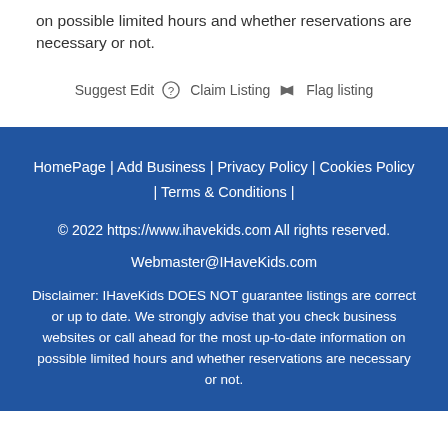on possible limited hours and whether reservations are necessary or not.
Suggest Edit  Claim Listing  Flag listing
HomePage | Add Business | Privacy Policy | Cookies Policy | Terms & Conditions |
© 2022 https://www.ihavekids.com All rights reserved.
Webmaster@IHaveKids.com
Disclaimer: IHaveKids DOES NOT guarantee listings are correct or up to date. We strongly advise that you check business websites or call ahead for the most up-to-date information on possible limited hours and whether reservations are necessary or not.